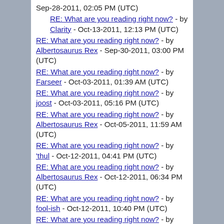Sep-28-2011, 02:05 PM (UTC)
RE: What are you reading right now? - by Clarity - Oct-13-2011, 12:13 PM (UTC)
RE: What are you reading right now? - by Albertosaurus Rex - Sep-30-2011, 03:00 PM (UTC)
RE: What are you reading right now? - by Farseer - Oct-03-2011, 01:39 AM (UTC)
RE: What are you reading right now? - by joost - Oct-03-2011, 05:16 PM (UTC)
RE: What are you reading right now? - by Albertosaurus Rex - Oct-05-2011, 11:59 AM (UTC)
RE: What are you reading right now? - by 'thul - Oct-12-2011, 04:41 PM (UTC)
RE: What are you reading right now? - by Albertosaurus Rex - Oct-12-2011, 06:34 PM (UTC)
RE: What are you reading right now? - by fool-ish - Oct-12-2011, 10:40 PM (UTC)
RE: What are you reading right now? - by 'thul - Oct-13-2011, 12:25 PM (UTC)
RE: What are you reading right now? - by 'thul - Oct-16-2011, 09:44 AM (UTC)
RE: What are you reading right now? - by Clarity - Oct-16-2011, 12:38 PM (UTC)